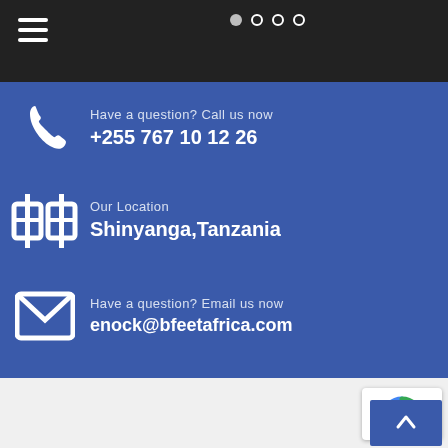[Figure (screenshot): Top navigation bar with hamburger menu icon on dark background, with a photo strip showing people at desks and carousel dots]
Have a question? Call us now
+255 767 10 12 26
Our Location
Shinyanga,Tanzania
Have a question? Email us now
enock@bfeetafrica.com